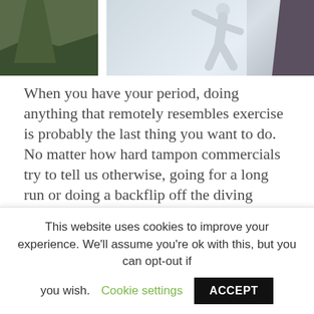[Figure (photo): Split photo: left side shows a potted plant with dark green leaves against a light background; right side shows a person in grey athletic wear stretching/doing yoga near a window with curtains.]
When you have your period, doing anything that remotely resembles exercise is probably the last thing you want to do. No matter how hard tampon commercials try to tell us otherwise, going for a long run or doing a backflip off the diving board during your period just isn't gonna happen for most of us. Even if we believed fervently in the power of our tampons to withstand that sort of activity, cramps have a way of making ordinary daily activities seem insurmountable, let alone
This website uses cookies to improve your experience. We'll assume you're ok with this, but you can opt-out if you wish. Cookie settings ACCEPT